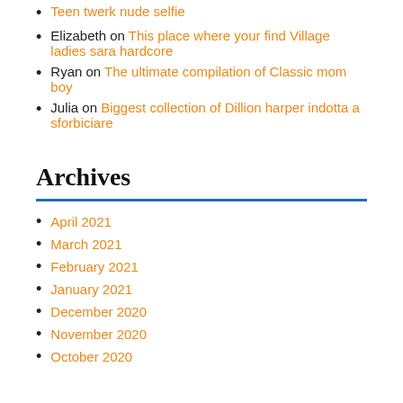Teen twerk nude selfie
Elizabeth on This place where your find Village ladies sara hardcore
Ryan on The ultimate compilation of Classic mom boy
Julia on Biggest collection of Dillion harper indotta a sforbiciare
Archives
April 2021
March 2021
February 2021
January 2021
December 2020
November 2020
October 2020